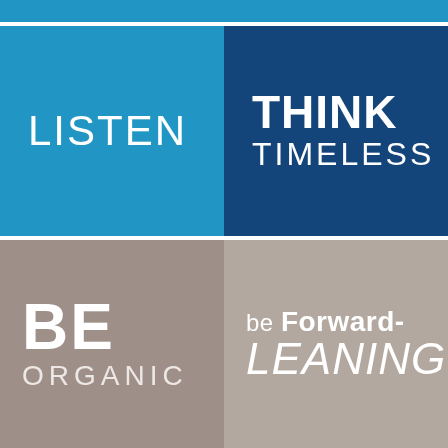[Figure (infographic): Four-quadrant motivational/brand values grid. Top-left: bright blue square with 'LISTEN' in white. Top-right: dark navy blue square with 'THINK TIMELESS' in white. Bottom-left: taupe/beige-gray square with 'BE ORGANIC' in white. Bottom-right: lighter taupe square with 'be Forward-LEANING' in white italic.]